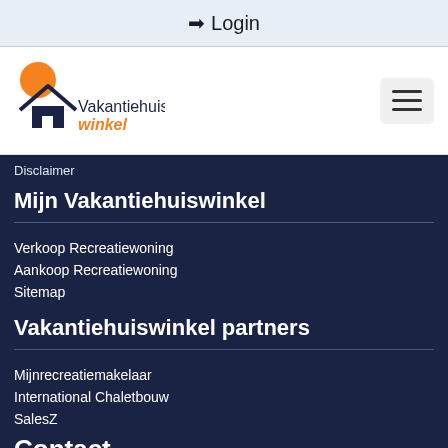➡ Login
[Figure (logo): Vakantiehuiswinkel logo with orange sun and house silhouette, text 'Vakantiehuis winkel' where 'winkel' is in orange]
Disclaimer
Mijn Vakantiehuiswinkel
Verkoop Recreatiewoning
Aankoop Recreatiewoning
Sitemap
Vakantiehuiswinkel partners
Mijnrecreatiemakelaar
International Chaletbouw
SalesZ
Contact